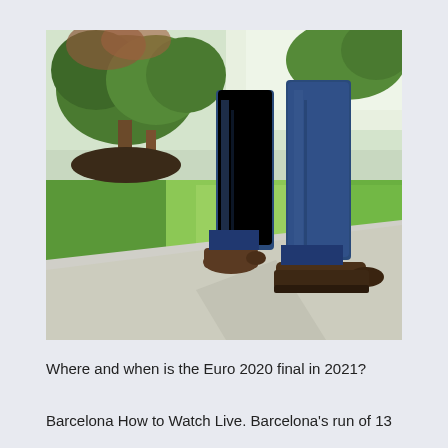[Figure (photo): Legs of a person walking on a concrete sidewalk, wearing blue jeans and brown leather shoes. Background shows green grass lawn and trees with green foliage in sunlight.]
Where and when is the Euro 2020 final in 2021?
Barcelona How to Watch Live. Barcelona's run of 13